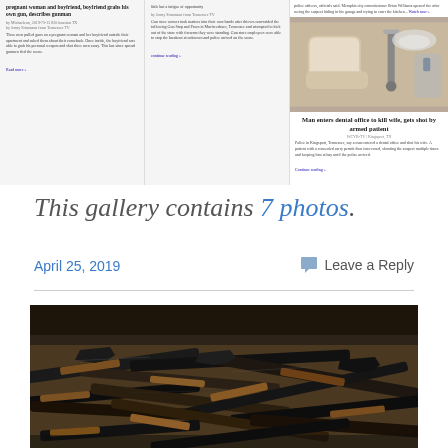[Figure (screenshot): Screenshot of a news website showing multiple news articles in a grid layout. Left column shows a story about a pregnant woman and boyfriend. Middle column shows another news story. Right portion shows a dental office chair image with article 'Man enters dental office to kill wife, gets shot by armed patient' from Kingsport, TN, with a 'Continue reading' link.]
This gallery contains 7 photos.
April 25, 2019
Leave a Reply
[Figure (photo): Large photograph showing a massive pile of guns and firearms stacked on top of each other.]